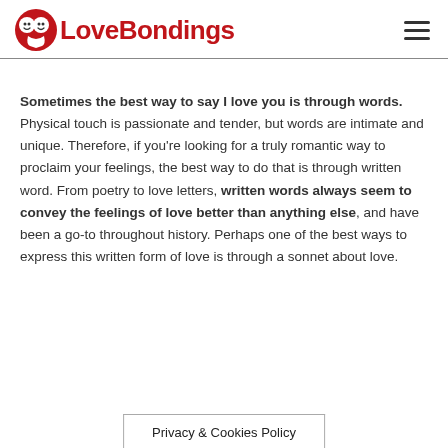LoveBondings
Sometimes the best way to say I love you is through words. Physical touch is passionate and tender, but words are intimate and unique. Therefore, if you're looking for a truly romantic way to proclaim your feelings, the best way to do that is through written word. From poetry to love letters, written words always seem to convey the feelings of love better than anything else, and have been a go-to throughout history. Perhaps one of the best ways to express this written form of love is through a sonnet about love.
Privacy & Cookies Policy